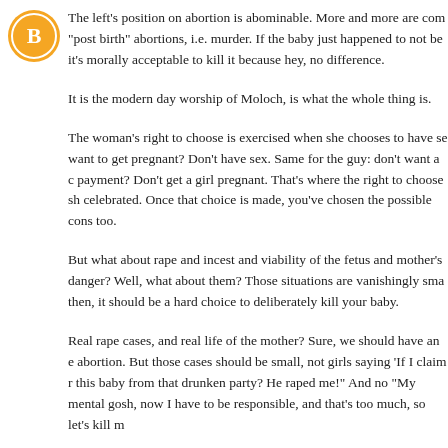[Figure (illustration): Orange circular Blogger avatar icon with white 'B' letter in center]
The left's position on abortion is abominable. More and more are coming out for "post birth" abortions, i.e. murder. If the baby just happened to not be born yet, it's morally acceptable to kill it because hey, no difference.
It is the modern day worship of Moloch, is what the whole thing is.
The woman's right to choose is exercised when she chooses to have sex. Don't want to get pregnant? Don't have sex. Same for the guy: don't want a child support payment? Don't get a girl pregnant. That's where the right to choose should be celebrated. Once that choice is made, you've chosen the possible consequences too.
But what about rape and incest and viability of the fetus and mother's life in danger? Well, what about them? Those situations are vanishingly small... even then, it should be a hard choice to deliberately kill your baby.
Real rape cases, and real life of the mother? Sure, we should have an exception for abortion. But those cases should be small, not girls saying 'If I claim rape, I can get this baby from that drunken party? He raped me!' And no "My mental health, gosh, now I have to be responsible, and that's too much, so let's kill m